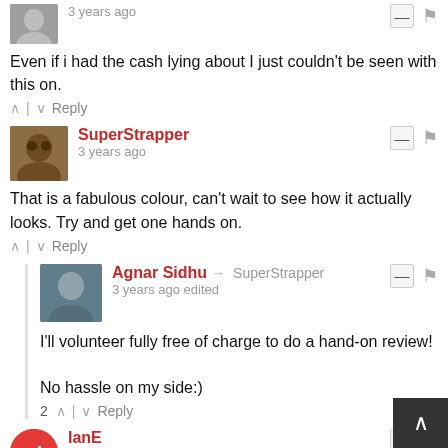Even if i had the cash lying about I just couldn't be seen with this on.
^ | v  Reply
SuperStrapper
3 years ago
That is a fabulous colour, can't wait to see how it actually looks. Try and get one hands on.
^ | v  Reply
Agnar Sidhu → SuperStrapper
3 years ago edited
I'll volunteer fully free of charge to do a hand-on review!

No hassle on my side:)
2  ^ | v  Reply
IanE
3 years ago
Gorgeous - but unattainable, and possibly unwearable